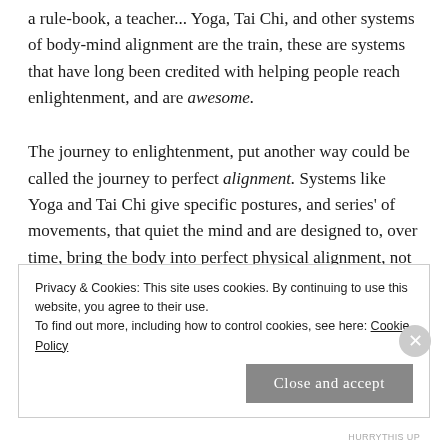a rule-book, a teacher... Yoga, Tai Chi, and other systems of body-mind alignment are the train, these are systems that have long been credited with helping people reach enlightenment, and are awesome.
The journey to enlightenment, put another way could be called the journey to perfect alignment. Systems like Yoga and Tai Chi give specific postures, and series' of movements, that quiet the mind and are designed to, over time, bring the body into perfect physical alignment, not just with itself, but
Privacy & Cookies: This site uses cookies. By continuing to use this website, you agree to their use.
To find out more, including how to control cookies, see here: Cookie Policy
Close and accept
HURRYTHIS UP